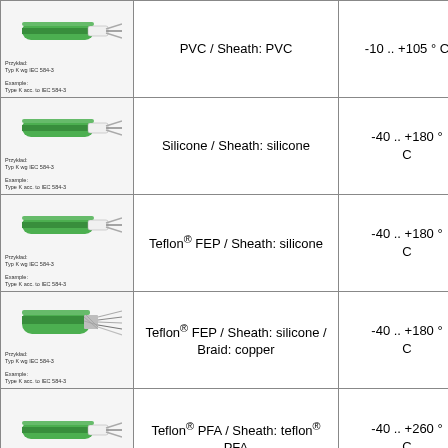| Image | Description | Temperature Range |
| --- | --- | --- |
| [cable image] | PVC / Sheath: PVC | -10 .. +105 ° C |
| [cable image] | Silicone / Sheath: silicone | -40 .. +180 ° C |
| [cable image] | Teflon® FEP / Sheath: silicone | -40 .. +180 ° C |
| [cable image] | Teflon® FEP / Sheath: silicone / Braid: copper | -40 .. +180 ° C |
| [cable image] | Teflon® PFA / Sheath: teflon® PFA | -40 .. +260 ° C |